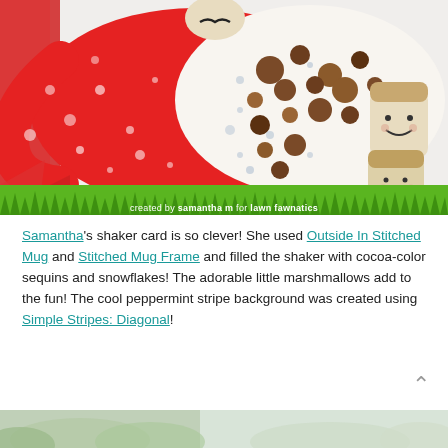[Figure (photo): A crafted shaker card shaped like a mug, red with white snow-speckled glitter decoration, filled with cocoa-colored sequins and snowflake sequins, with two adorable kawaii-style marshmallow characters visible inside the mug shape.]
created by samantha m for lawn fawnatics
Samantha's shaker card is so clever! She used Outside In Stitched Mug and Stitched Mug Frame and filled the shaker with cocoa-color sequins and snowflakes! The adorable little marshmallows add to the fun! The cool peppermint stripe background was created using Simple Stripes: Diagonal!
[Figure (photo): Partial view of another card/craft project at the bottom of the page, showing green and white tones.]